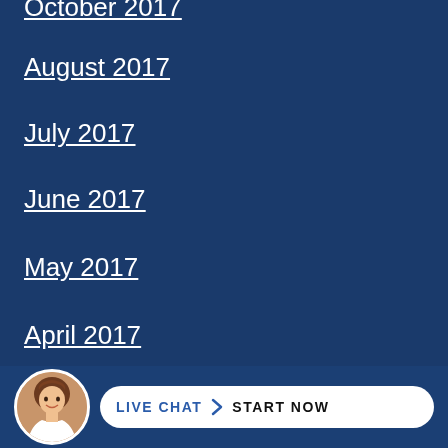October 2017
August 2017
July 2017
June 2017
May 2017
April 2017
March 2017
December 2016
November 2016
October 2016
September 2016
August 2016
[Figure (other): Live chat banner with avatar photo of a smiling woman and a white button reading LIVE CHAT START NOW]